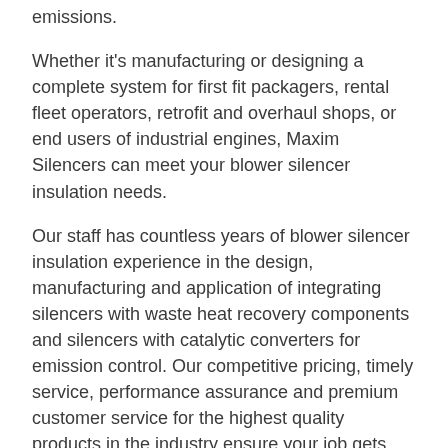emissions.
Whether it's manufacturing or designing a complete system for first fit packagers, rental fleet operators, retrofit and overhaul shops, or end users of industrial engines, Maxim Silencers can meet your blower silencer insulation needs.
Our staff has countless years of blower silencer insulation experience in the design, manufacturing and application of integrating silencers with waste heat recovery components and silencers with catalytic converters for emission control. Our competitive pricing, timely service, performance assurance and premium customer service for the highest quality products in the industry ensure your job gets done on time to your strict specifications.
We are committed to understanding your blower silencer insulation needs and providing you with the highest value